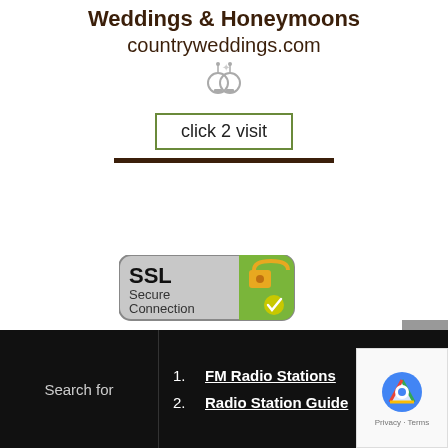Weddings & Honeymoons
countryweddings.com
[Figure (illustration): Small wedding bells / celebration icon]
click 2 visit
[Figure (logo): SSL Secure Connection badge with padlock icon and green checkmark, followed by HOSTING PLANS text]
OutBrain
Search for
1. FM Radio Stations
2. Radio Station Guide
[Figure (logo): Google reCAPTCHA badge with Privacy and Terms links]